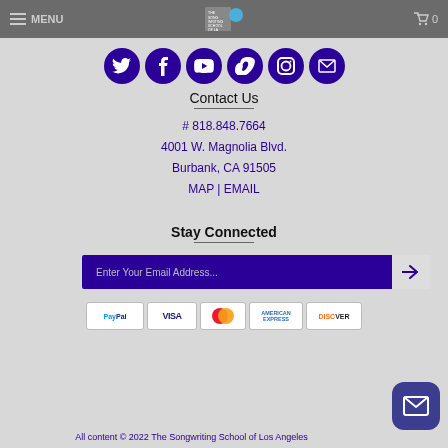MENU | [logo] | cart 0
[Figure (illustration): Row of 6 social media icon circles (Twitter, Facebook, YouTube, Vimeo, Instagram, Email) in dark purple/indigo color]
Contact Us
# 818.848.7664
4001 W. Magnolia Blvd.
Burbank, CA 91505
MAP | EMAIL
Stay Connected
Enter Your Email Address...
[Figure (illustration): Payment method logos: PayPal, VISA, MasterCard, American Express, Discover]
All content © 2022 The Songwriting School of Los Angeles